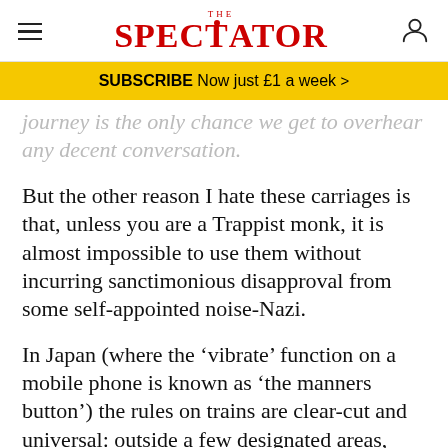THE SPECTATOR
SUBSCRIBE Now just £1 a week >
journey is the only chance we get to overhear any decent conversation.
But the other reason I hate these carriages is that, unless you are a Trappist monk, it is almost impossible to use them without incurring sanctimonious disapproval from some self-appointed noise-Nazi.
In Japan (where the 'vibrate' function on a mobile phone is known as 'the manners button') the rules on trains are clear-cut and universal: outside a few designated areas, voice calls on trains are